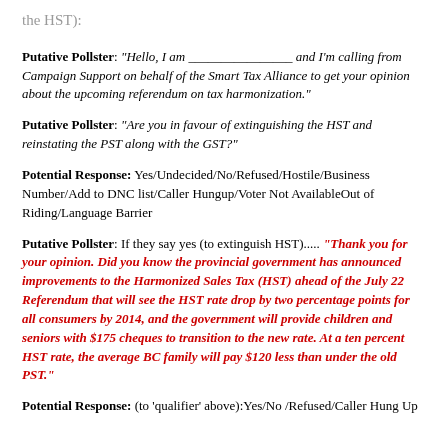the HST):
Putative Pollster: "Hello, I am ________________ and I'm calling from Campaign Support on behalf of the Smart Tax Alliance to get your opinion about the upcoming referendum on tax harmonization."
Putative Pollster: "Are you in favour of extinguishing the HST and reinstating the PST along with the GST?"
Potential Response: Yes/Undecided/No/Refused/Hostile/Business Number/Add to DNC list/Caller Hungup/Voter Not AvailableOut of Riding/Language Barrier
Putative Pollster: If they say yes (to extinguish HST)..... "Thank you for your opinion. Did you know the provincial government has announced improvements to the Harmonized Sales Tax (HST) ahead of the July 22 Referendum that will see the HST rate drop by two percentage points for all consumers by 2014, and the government will provide children and seniors with $175 cheques to transition to the new rate. At a ten percent HST rate, the average BC family will pay $120 less than under the old PST."
Potential Response: (to 'qualifier' above):Yes/No /Refused/Caller Hung Up